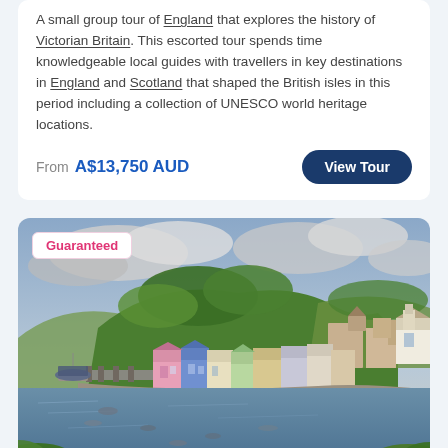A small group tour of England that explores the history of Victorian Britain. This escorted tour spends time knowledgeable local guides with travellers in key destinations in England and Scotland that shaped the British isles in this period including a collection of UNESCO world heritage locations.
From A$13,750 AUD
View Tour
[Figure (photo): Scenic harbour town with colourful buildings along the waterfront, green hills with trees in the background, boats on the water, and a cloudy sky. A 'Guaranteed' badge is in the top left corner.]